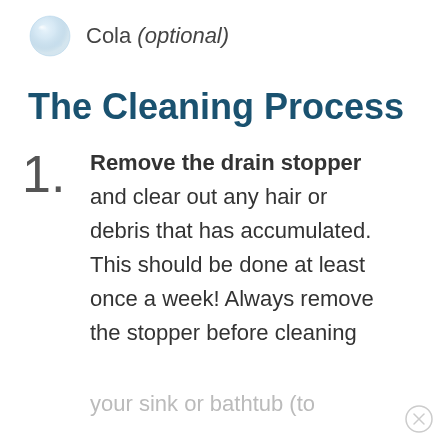Cola (optional)
The Cleaning Process
Remove the drain stopper and clear out any hair or debris that has accumulated. This should be done at least once a week! Always remove the stopper before cleaning your sink or bathtub (to